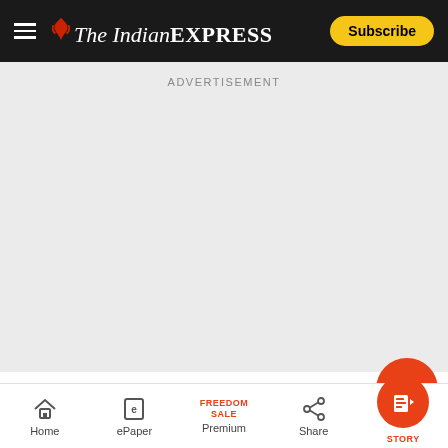The Indian Express — Subscribe
ADVERTISEMENT
In his speech earlier, Putin said that the mi
Home | ePaper | Premium (FREEDOM SALE) | Share | STORY